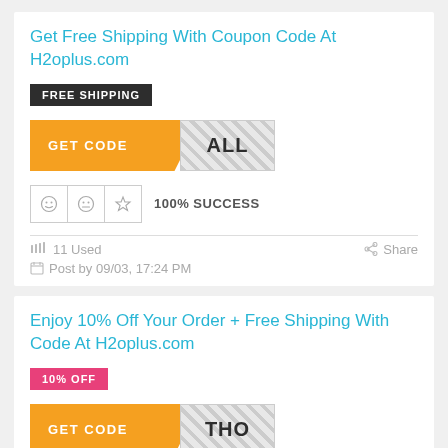Get Free Shipping With Coupon Code At H2oplus.com
FREE SHIPPING
[Figure (other): GET CODE button with orange background and partially revealed code 'ALL' in hatched area]
100% SUCCESS
11 Used
Share
Post by 09/03, 17:24 PM
Enjoy 10% Off Your Order + Free Shipping With Code At H2oplus.com
10% OFF
[Figure (other): GET CODE button with orange background and partially revealed code 'THO' in hatched area]